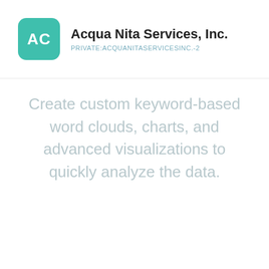Acqua Nita Services, Inc.
PRIVATE:ACQUANITASERVICESINC.-2
Create custom keyword-based word clouds, charts, and advanced visualizations to quickly analyze the data.